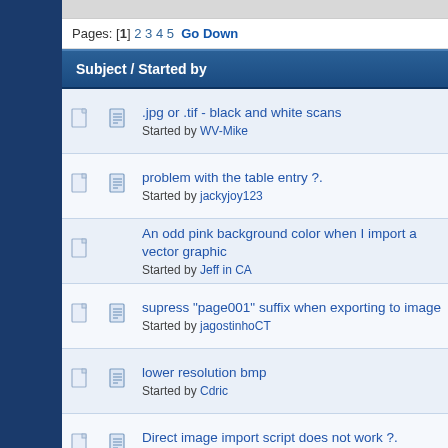Pages: [1] 2 3 4 5  Go Down
| Subject / Started by |
| --- |
| .jpg or .tif - black and white scans
Started by WV-Mike |
| problem with the table entry ?.
Started by jackyjoy123 |
| An odd pink background color when I import a vector graphic
Started by Jeff in CA |
| supress "page001" suffix when exporting to image
Started by jagostinhoCT |
| lower resolution bmp
Started by Cdric |
| Direct image import script does not work ?.
Started by jackyjoy123 |
| Newbeginner guide?
Started by lmh1 |
| Error writing output file, export to tiff
Started by abend |